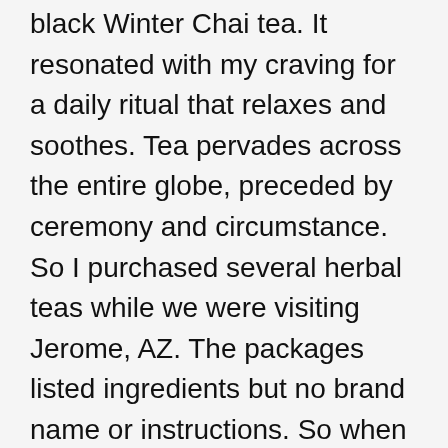black Winter Chai tea. It resonated with my craving for a daily ritual that relaxes and soothes. Tea pervades across the entire globe, preceded by ceremony and circumstance. So I purchased several herbal teas while we were visiting Jerome, AZ. The packages listed ingredients but no brand name or instructions. So when we got home, I went looking to learn the best time, temperature and ratios to use when brewing.
What I found is that there are many traditions of tea, but it is all the same leaf- one plant around the world called camellia sinensis. Depending on the processing, tea becomes white, green, black or even Pur'eh! I also read